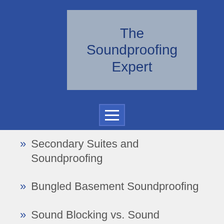The Soundproofing Expert
[Figure (other): Hamburger menu icon (three horizontal white lines on blue background)]
» Secondary Suites and Soundproofing
» Bungled Basement Soundproofing
» Sound Blocking vs. Sound Absorption: What's the Difference?
» How to Select a